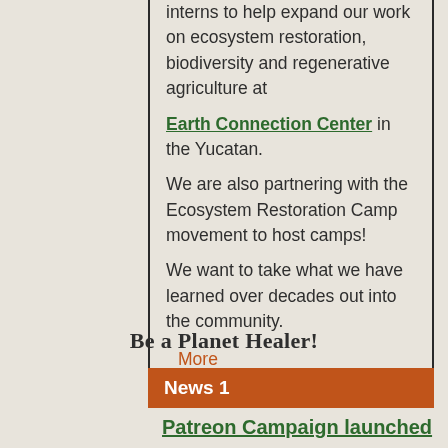interns to help expand our work on ecosystem restoration, biodiversity and regenerative agriculture at Earth Connection Center in the Yucatan.
We are also partnering with the Ecosystem Restoration Camp movement to host camps!
We want to take what we have learned over decades out into the community.
More
Be a Planet Healer!
News 1
Patreon Campaign launched